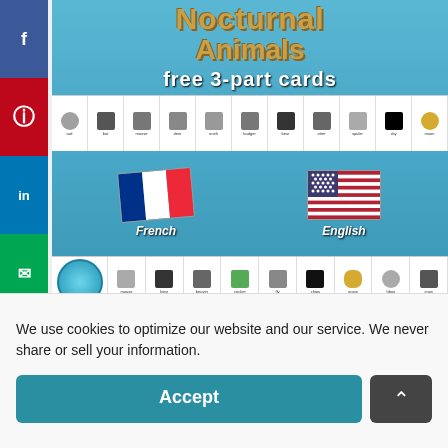[Figure (illustration): Nocturnal Animals free 3-part cards educational product image with French and English flags, animal cards strip, and logo]
We use cookies to optimize our website and our service. We never share or sell your information.
Accept